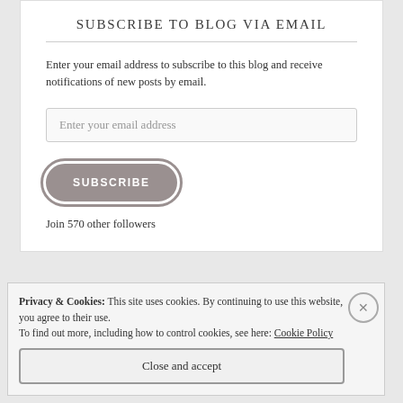SUBSCRIBE TO BLOG VIA EMAIL
Enter your email address to subscribe to this blog and receive notifications of new posts by email.
Enter your email address
SUBSCRIBE
Join 570 other followers
Privacy & Cookies: This site uses cookies. By continuing to use this website, you agree to their use.
To find out more, including how to control cookies, see here: Cookie Policy
Close and accept